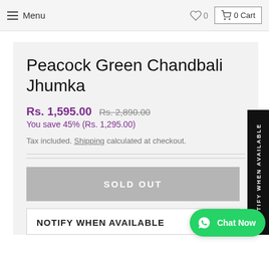Menu  ♡ 0  0 Cart
Peacock Green Chandbali Jhumka
Rs. 1,595.00  Rs. 2,890.00
You save 45% (Rs. 1,295.00)
Tax included. Shipping calculated at checkout.
SOLD OUT
NOTIFY WHEN AVAILABLE
NOTIFY WHEN AVAILABLE
Chat Now